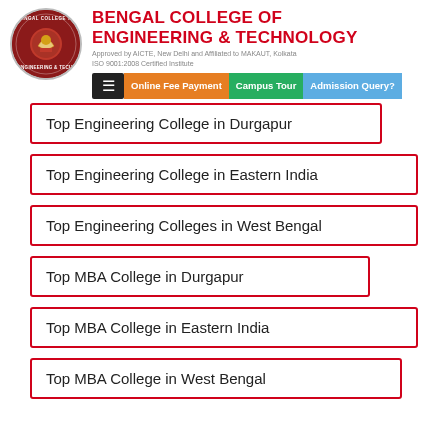[Figure (logo): Bengal College of Engineering & Technology circular logo with red crest]
BENGAL COLLEGE OF ENGINEERING & TECHNOLOGY
Approved by AICTE, New Delhi and Affiliated to MAKAUT, Kolkata
ISO 9001:2008 Certified Institute
[Figure (screenshot): Navigation bar with hamburger menu, Online Fee Payment (orange), Campus Tour (green), Admission Query? (blue) buttons]
Top Engineering College in Durgapur
Top Engineering College in Eastern India
Top Engineering Colleges in West Bengal
Top MBA College in Durgapur
Top MBA College in Eastern India
Top MBA College in West Bengal